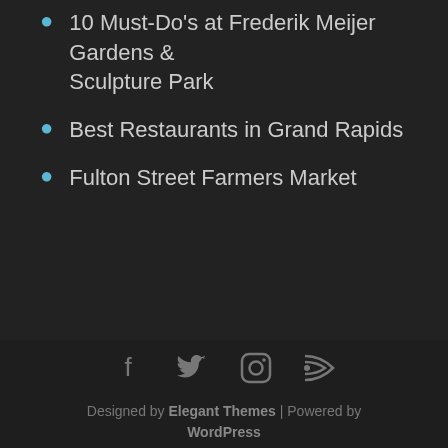10 Must-Do's at Frederik Meijer Gardens & Sculpture Park
Best Restaurants in Grand Rapids
Fulton Street Farmers Market
Designed by Elegant Themes | Powered by WordPress